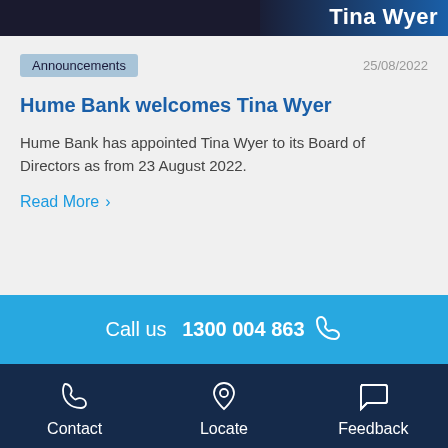[Figure (photo): Header image banner with dark left portion (photo of person) and blue right portion showing partial text 'Tina Wyer' in white bold font]
Announcements
25/08/2022
Hume Bank welcomes Tina Wyer
Hume Bank has appointed Tina Wyer to its Board of Directors as from 23 August 2022.
Read More >
Call us 1300 004 863
Contact   Locate   Feedback